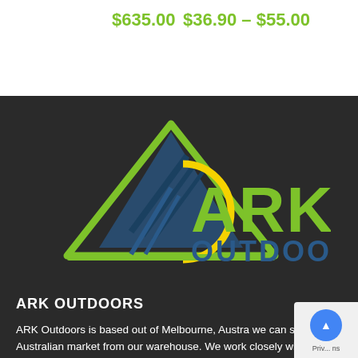$635.00
$36.90 – $55.00
[Figure (logo): ARK Outdoors logo featuring a green mountain triangle outline, blue mountain silhouette, yellow arc, and bold green text 'ARK OUTDOORS' on dark background]
ARK OUTDOORS
ARK Outdoors is based out of Melbourne, Austra... we can service the Australian market from our warehouse. We work closely with our suppliers t...